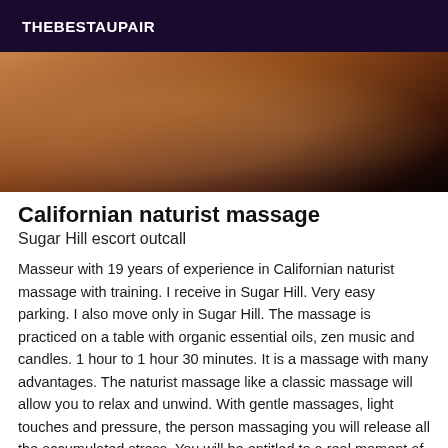THEBESTAUPAIR
[Figure (photo): Close-up photo of hands or body in warm amber and brown tones against a dark background, suggesting a massage context]
Californian naturist massage
Sugar Hill escort outcall
Masseur with 19 years of experience in Californian naturist massage with training. I receive in Sugar Hill. Very easy parking. I also move only in Sugar Hill. The massage is practiced on a table with organic essential oils, zen music and candles. 1 hour to 1 hour 30 minutes. It is a massage with many advantages. The naturist massage like a classic massage will allow you to relax and unwind. With gentle massages, light touches and pressure, the person massaging you will release all the accumulated stress. You will be entitled to a real moment of well-being and a real letting go. You will